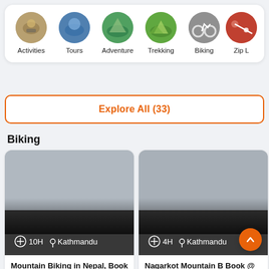Activities
Tours
Adventure
Trekking
Biking
Zip L
Explore All (33)
Biking
Mountain Biking in Nepal, Book Now Flat 20% off
10H  Kathmandu
74 Ratings
Nagarkot Mountain B Book @ Flat 24% off
4H  Kathmandu
34 Ratings